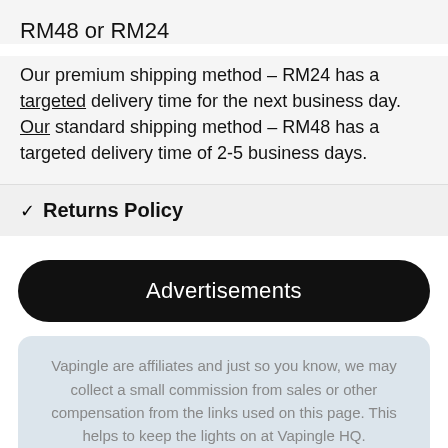RM48 or RM24
Our premium shipping method – RM24 has a targeted delivery time for the next business day. Our standard shipping method – RM48 has a targeted delivery time of 2-5 business days.
Returns Policy
Advertisements
Vapingle are affiliates and just so you know, we may collect a small commission from sales or other compensation from the links used on this page. This helps to keep the lights on at Vapingle HQ.

A special thank you if you use any of our links, we really appreciate it!